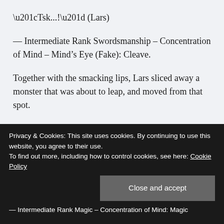“Tsk...!” (Lars)
— Intermediate Rank Swordsmanship – Concentration of Mind – Mind’s Eye (Fake): Cleave.
Together with the smacking lips, Lars sliced away a monster that was about to leap, and moved from that spot.
Immediately after that, the claws of the wolf-like monster, that was three meters in length, passed the spot where Lars was at. At that time, he wasn’t longer there. Or rather, he should say that he couldn’t afford to observe. As he quickly
— Intermediate Rank Magic – Concentration of Mind: Magic
Privacy & Cookies: This site uses cookies. By continuing to use this website, you agree to their use.
To find out more, including how to control cookies, see here: Cookie Policy
Close and accept